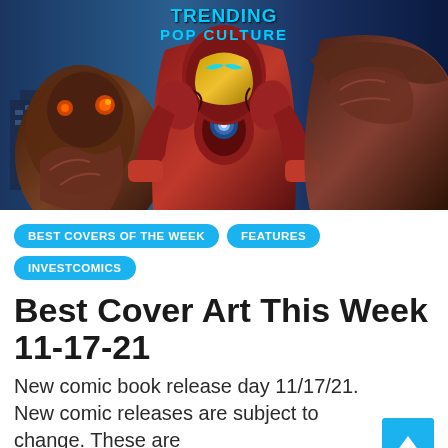[Figure (illustration): Comic book style hero image showing Iron Man in damaged red and gold armor in the center, flanked by two other figures. Text overlay reads 'TRENDING POP CULTURE' in cyan/blue letters at the top.]
BEST COVERS OF THE WEEK
FEATURES
INVESTCOMICS
Best Cover Art This Week 11-17-21
New comic book release day 11/17/21. New comic releases are subject to change. These are
By Jay Katz   9 months ago